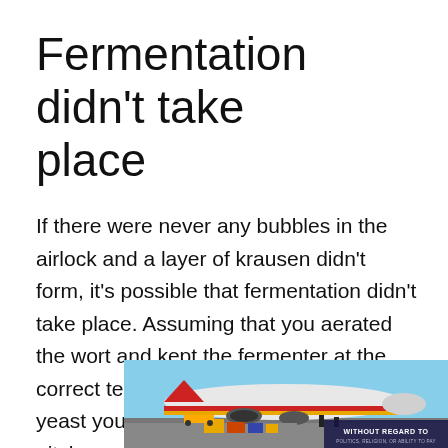Fermentation didn't take place
If there were never any bubbles in the airlock and a layer of krausen didn't form, it's possible that fermentation didn't take place. Assuming that you aerated the wort and kept the fermenter at the correct temperature, it's possible that the yeast you used was dead, or you didn't pitch enough.
[Figure (photo): Advertisement banner showing cargo being loaded onto a large commercial airplane on a tarmac. Airline livery visible in red, yellow, and blue. Overlay text reads 'WITHOUT REGARD TO' and smaller text below.]